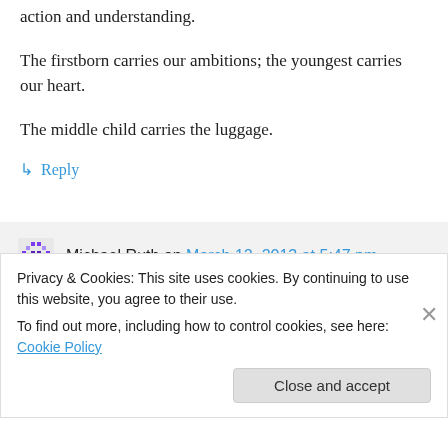action and understanding.
The firstborn carries our ambitions; the youngest carries our heart.
The middle child carries the luggage.
↳ Reply
Michael Ruth on March 12, 2013 at 5:47 pm
You're so right about which one carries
Privacy & Cookies: This site uses cookies. By continuing to use this website, you agree to their use. To find out more, including how to control cookies, see here: Cookie Policy
Close and accept